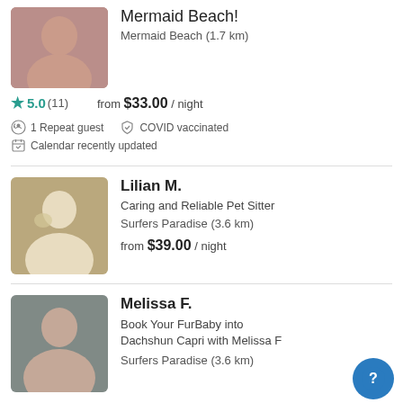Mermaid Beach!
Mermaid Beach (1.7 km)
★ 5.0 (11)   from $33.00 / night
1 Repeat guest   COVID vaccinated
Calendar recently updated
Lilian M.
Caring and Reliable Pet Sitter
Surfers Paradise (3.6 km)
from $39.00 / night
Melissa F.
Book Your FurBaby into Dachshun Capri with Melissa F
Surfers Paradise (3.6 km)